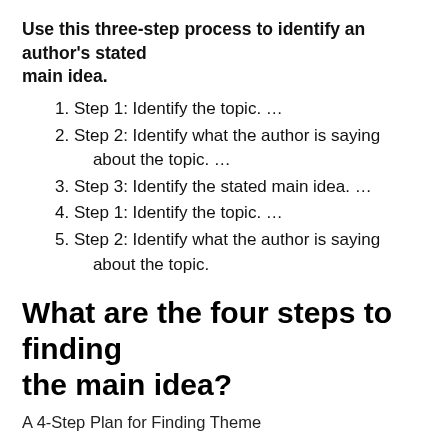Use this three-step process to identify an author's stated main idea.
Step 1: Identify the topic. …
Step 2: Identify what the author is saying about the topic. …
Step 3: Identify the stated main idea. …
Step 1: Identify the topic. …
Step 2: Identify what the author is saying about the topic.
What are the four steps to finding the main idea?
A 4-Step Plan for Finding Theme
Read the story, and pay attention to the plot and story elements. Ask yourself "What do people learn from reading this story?" (That's the theme!) Turn the theme into a question